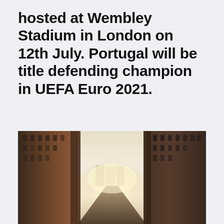hosted at Wembley Stadium in London on 12th July. Portugal will be title defending champion in UEFA Euro 2021.
Duri... Kieffer Moore header and Danny Ward saves give Wales a point vs Switzerland in Euro 2020 - live reaction Wales' training base. Ominous signs from Italy.
[Figure (photo): A narrow urban street or alley flanked by tall brick/stone buildings on both sides, with bright sunlight glowing from the far end creating a dramatic backlit scene. The buildings have a historical European architectural style.]